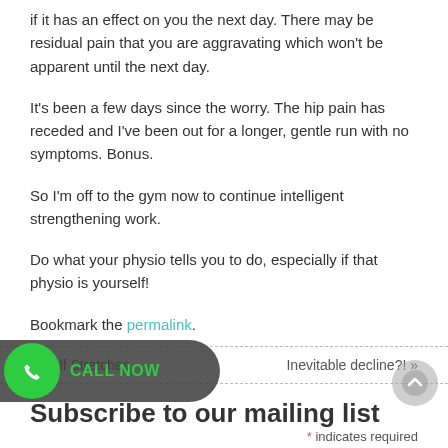if it has an effect on you the next day. There may be residual pain that you are aggravating which won't be apparent until the next day.
It's been a few days since the worry. The hip pain has receded and I've been out for a longer, gentle run with no symptoms. Bonus.
So I'm off to the gym now to continue intelligent strengthening work.
Do what your physio tells you to do, especially if that physio is yourself!
Bookmark the permalink.
« Calf Stretches
Inevitable decline?! »
Subscribe to our mailing list
* indicates required
Email Address *